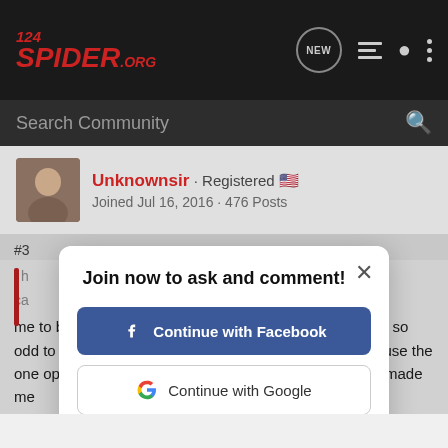124SPIDER.ORG
Search Community
Unknownsir · Registered · Joined Jul 16, 2016 · 476 Posts
Join now to ask and comment!
Continue with Facebook
Continue with Google
or sign up with email
me to be a specific demographic. i always thought it was so odd to spend extra money on a specialty car and never use the one option that made the car what it is. can;t say it ever made me